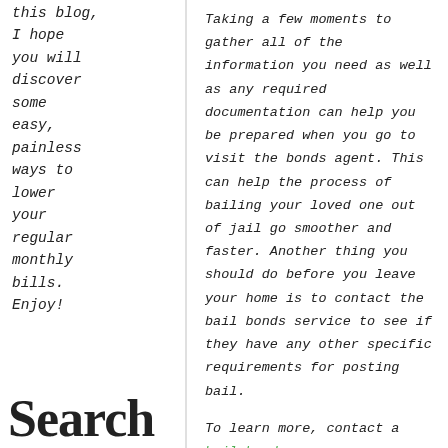this blog, I hope you will discover some easy, painless ways to lower your regular monthly bills. Enjoy!
Taking a few moments to gather all of the information you need as well as any required documentation can help you be prepared when you go to visit the bonds agent. This can help the process of bailing your loved one out of jail go smoother and faster. Another thing you should do before you leave your home is to contact the bail bonds service to see if they have any other specific requirements for posting bail.
To learn more, contact a bail bonds company.
Share
[Figure (infographic): Social media share buttons: Facebook, Twitter, Google+, LinkedIn]
Search